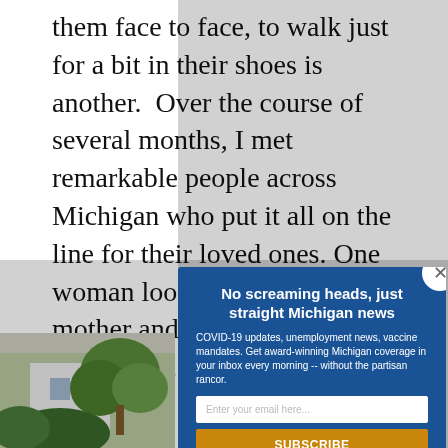them face to face, to walk just for a bit in their shoes is another.  Over the course of several months, I met remarkable people across Michigan who put it all on the line for their loved ones. One woman looked after her mother and father, then started a nonprofit to train caregivers. Another cared for her... who w... husba... proble... ages, a... aweso...
[Figure (photo): Partial photo of a house or building with trees/plants visible in the lower left corner of the page]
[Figure (infographic): Email subscription modal popup with blue background. Title: 'No screaming heads, just straight Michigan news'. Body text about COVID-19 updates, unemployment news, vaccine mandates. Email input field, Subscribe button, and privacy notice.]